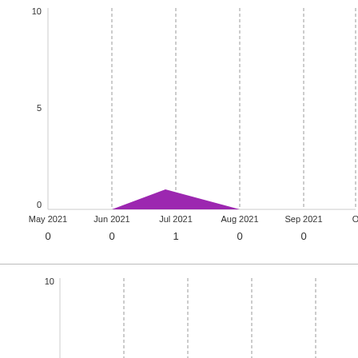[Figure (area-chart): ]
[Figure (area-chart): ]